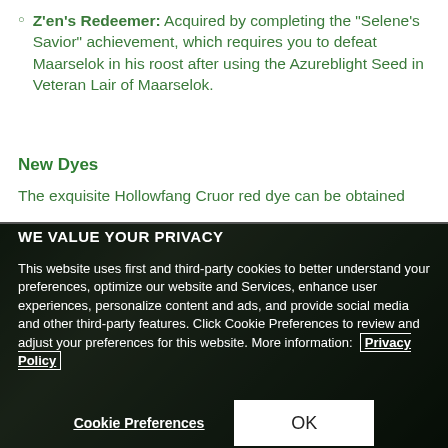Z'en's Redeemer: Acquired by completing the "Selene's Savior" achievement, which requires you to defeat Maarselok in his roost after using the Azureblight Seed in Veteran Lair of Maarselok.
New Dyes
The exquisite Hollowfang Cruor red dye can be obtained
WE VALUE YOUR PRIVACY
This website uses first and third-party cookies to better understand your preferences, optimize our website and Services, enhance user experiences, personalize content and ads, and provide social media and other third-party features. Click Cookie Preferences to review and adjust your preferences for this website. More information:  Privacy Policy
Cookie Preferences
OK